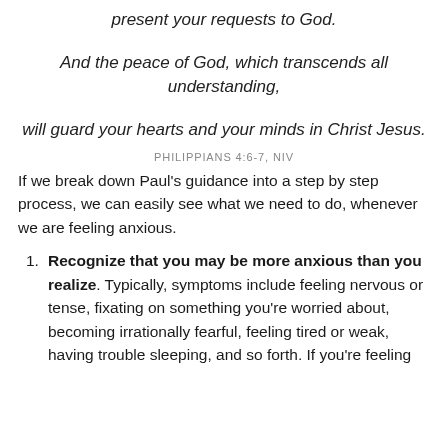present your requests to God.
And the peace of God, which transcends all understanding,
will guard your hearts and your minds in Christ Jesus.
PHILIPPIANS 4:6-7, NIV
If we break down Paul’s guidance into a step by step process, we can easily see what we need to do, whenever we are feeling anxious.
Recognize that you may be more anxious than you realize. Typically, symptoms include feeling nervous or tense, fixating on something you’re worried about, becoming irrationally fearful, feeling tired or weak, having trouble sleeping, and so forth. If you’re feeling